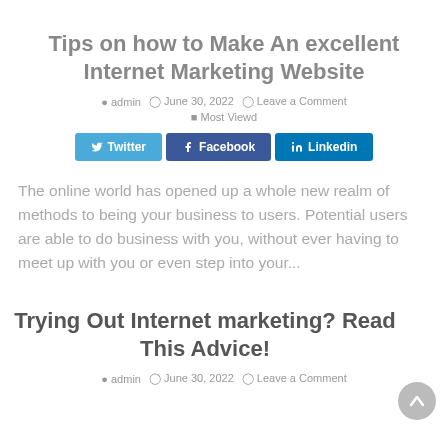Tips on how to Make An excellent Internet Marketing Website
admin  June 30, 2022  Leave a Comment  Most Viewd
[Figure (other): Social share buttons: Twitter, Facebook, Linkedin]
The online world has opened up a whole new realm of methods to being your business to users. Potential users are able to do business with you, without ever having to meet up with you or even step into your...
Trying Out Internet marketing? Read This Advice!
admin  June 30, 2022  Leave a Comment